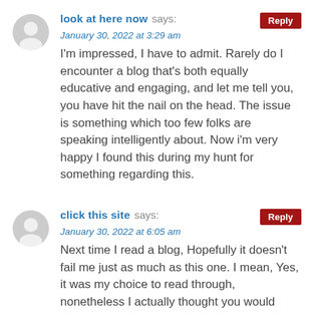look at here now says: January 30, 2022 at 3:29 am
I'm impressed, I have to admit. Rarely do I encounter a blog that's both equally educative and engaging, and let me tell you, you have hit the nail on the head. The issue is something which too few folks are speaking intelligently about. Now i'm very happy I found this during my hunt for something regarding this.
click this site says: January 30, 2022 at 6:05 am
Next time I read a blog, Hopefully it doesn't fail me just as much as this one. I mean, Yes, it was my choice to read through, nonetheless I actually thought you would probably have something helpful to talk about. All I hear is a